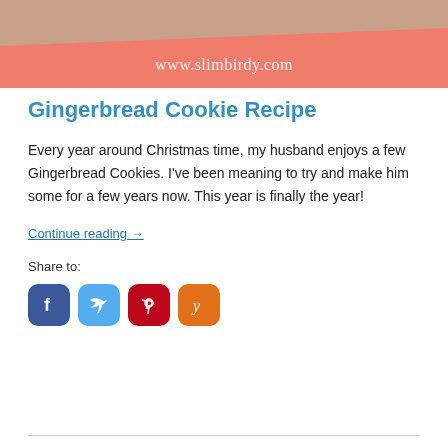[Figure (photo): Blog banner image showing gingerbread cookies and text www.slimbirdy.com on a salmon/orange gradient background]
Gingerbread Cookie Recipe
Every year around Christmas time, my husband enjoys a few Gingerbread Cookies. I've been meaning to try and make him some for a few years now. This year is finally the year!
Continue reading →
Share to:
[Figure (infographic): Social media sharing icons: Facebook (blue), Twitter (light blue), Pinterest (red), Yummly (orange)]